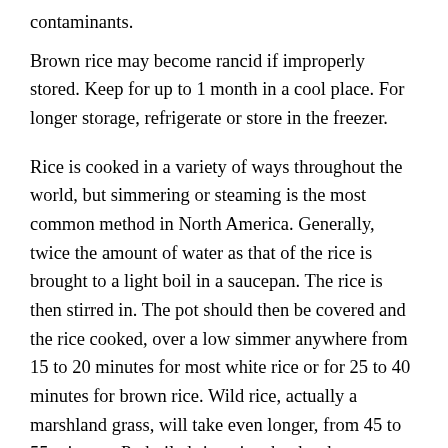contaminants.
Brown rice may become rancid if improperly stored. Keep for up to 1 month in a cool place. For longer storage, refrigerate or store in the freezer.
Rice is cooked in a variety of ways throughout the world, but simmering or steaming is the most common method in North America. Generally, twice the amount of water as that of the rice is brought to a light boil in a saucepan. The rice is then stirred in. The pot should then be covered and the rice cooked, over a low simmer anywhere from 15 to 20 minutes for most white rice or for 25 to 40 minutes for brown rice. Wild rice, actually a marshland grass, will take even longer, from 45 to 55 minutes. Parboiled rice, rice that has been partially precooked or steamed, requires the shortest cooking time, anywhere from 10 to 15 minutes, depending on